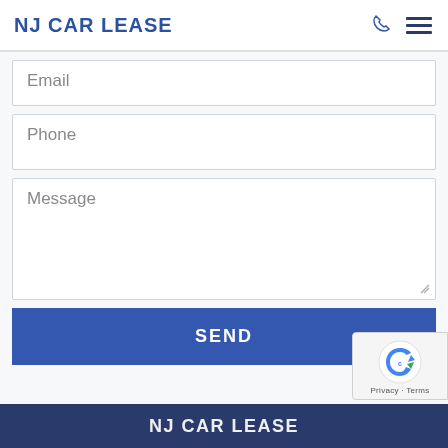NJ CAR LEASE
Email
Phone
Message
SEND
[Figure (logo): reCAPTCHA badge with rotating arrow logo and Privacy - Terms text]
NJ CAR LEASE